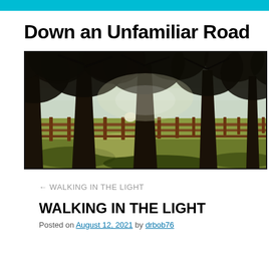Down an Unfamiliar Road
[Figure (photo): A rural landscape photograph showing large bare trees with dark trunks lining a wooden fence. Sunlight filters through the canopy casting dappled shadows on green-yellow grass. In the background, white round hay bales sit in a field under a hazy sky.]
← WALKING IN THE LIGHT
WALKING IN THE LIGHT
Posted on August 12, 2021 by drbob76